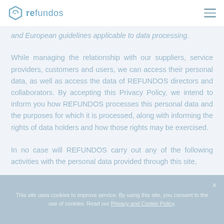refundos
and European guidelines applicable to data processing.
While managing the relationship with our suppliers, service providers, customers and users, we can access their personal data, as well as access the data of REFUNDOS directors and collaborators. By accepting this Privacy Policy, we intend to inform you how REFUNDOS processes this personal data and the purposes for which it is processed, along with informing the rights of data holders and how those rights may be exercised.
In no case will REFUNDOS carry out any of the following activities with the personal data provided through this site,
This site uses cookies to improve service. By using this site, you consent to the use of cookies. Read our Privacy and Cookie Policy.